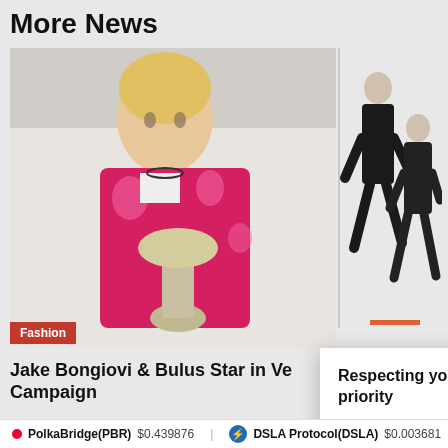More News
[Figure (photo): Young man wearing pink floral Versace jacket, holding silver trophy, fashion editorial]
[Figure (photo): Two figures in black suits running/lunging in dynamic pose against white background]
Fashion
Jake Bongiovi & Bulus Star in Ve Campaign
4 hours ago
Respecting your privacy is our priority
We use cookies on uomoelegante.it to give you an optimal experience. Happy surfing.
ACCEPT
SETTINGS
REJECT ALL
PolkaBridge(PBR) $0.439876   DSLA Protocol(DSLA) $0.003681